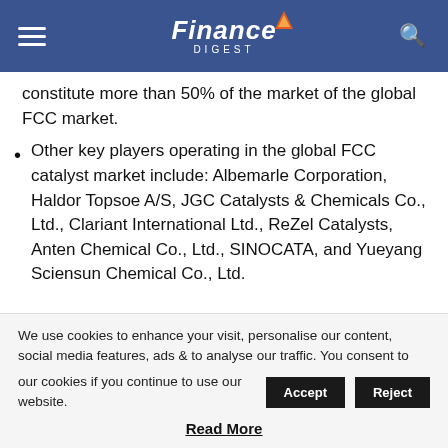Finance Digest
constitute more than 50% of the market of the global FCC market.
Other key players operating in the global FCC catalyst market include: Albemarle Corporation, Haldor Topsoe A/S, JGC Catalysts & Chemicals Co., Ltd., Clariant International Ltd., ReZel Catalysts, Anten Chemical Co., Ltd., SINOCATA, and Yueyang Sciensun Chemical Co., Ltd.
Get Trending Report-
We use cookies to enhance your visit, personalise our content, social media features, ads & to analyse our traffic. You consent to our cookies if you continue to use our website.
Read More